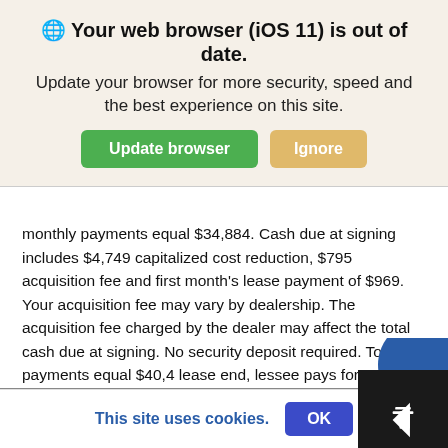Your web browser (iOS 11) is out of date.
Update your browser for more security, speed and the best experience on this site.
monthly payments equal $34,884. Cash due at signing includes $4,749 capitalized cost reduction, $795 acquisition fee and first month's lease payment of $969. Your acquisition fee may vary by dealership. The acquisition fee charged by the dealer may affect the total cash due at signing. No security deposit required. Total payments equal $40,4[obscured] lease end, lessee pays for any amounts due under the lease, any official fees and taxes related to the scheduled termination, excess wear and use plus $0.25/mile over 30,000 miles, and $595 vehicle turn-in fee. Purchase option at lease end for $36,915 plus taxes (and any other fees and charges due under the applicable lease agreement) in example shown. Subject to credit approval. Specific vehicles are subject to availability and may have to be ordered. See participating dealer for details. Not valid in Puerto Rico. Please always wear your seat b
This site uses cookies.